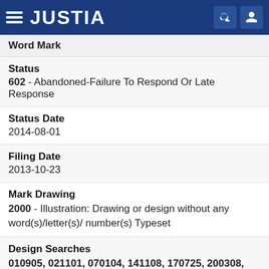JUSTIA
Word Mark
Status
602 - Abandoned-Failure To Respond Or Late Response
Status Date
2014-08-01
Filing Date
2013-10-23
Mark Drawing
2000 - Illustration: Drawing or design without any word(s)/letter(s)/ number(s) Typeset
Design Searches
010905, 021101, 070104, 141108, 170725, 200308, 241703, 260116, 260121, 260131, 261710 - Atoms or